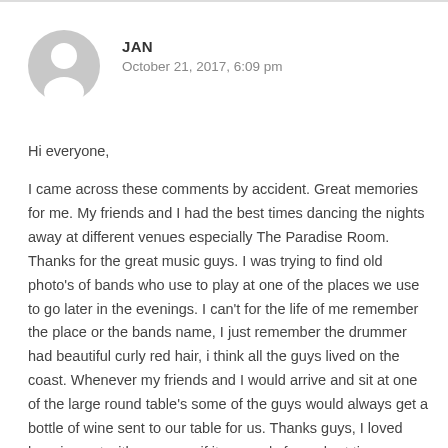[Figure (illustration): Gray circular avatar placeholder with silhouette of a person (head and shoulders)]
JAN
October 21, 2017, 6:09 pm
Hi everyone,
I came across these comments by accident. Great memories for me. My friends and I had the best times dancing the nights away at different venues especially The Paradise Room. Thanks for the great music guys. I was trying to find old photo's of bands who use to play at one of the places we use to go later in the evenings. I can't for the life of me remember the place or the bands name, I just remember the drummer had beautiful curly red hair, i think all the guys lived on the coast. Whenever my friends and I would arrive and sit at one of the large round table's some of the guys would always get a bottle of wine sent to our table for us. Thanks guys, I loved hanging out with you even if it was only for a short time.